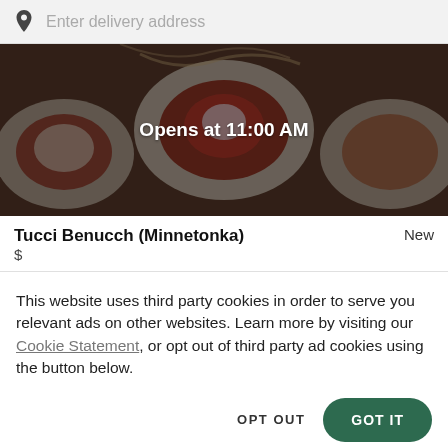Enter delivery address
[Figure (photo): Dark overlay on food photo showing Italian pasta dishes on plates. Text overlay reads 'Opens at 11:00 AM']
Tucci Benucch (Minnetonka)
New
$
This website uses third party cookies in order to serve you relevant ads on other websites. Learn more by visiting our Cookie Statement, or opt out of third party ad cookies using the button below.
OPT OUT
GOT IT